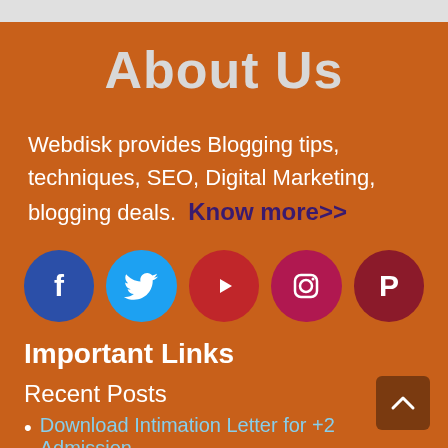About Us
Webdisk provides Blogging tips, techniques, SEO, Digital Marketing, blogging deals.  Know more>>
[Figure (infographic): Row of five social media icons: Facebook (blue circle), Twitter (light blue circle), YouTube (red circle), Instagram (crimson circle), Pinterest (dark red circle)]
Important Links
Recent Posts
Download Intimation Letter for +2 Admission